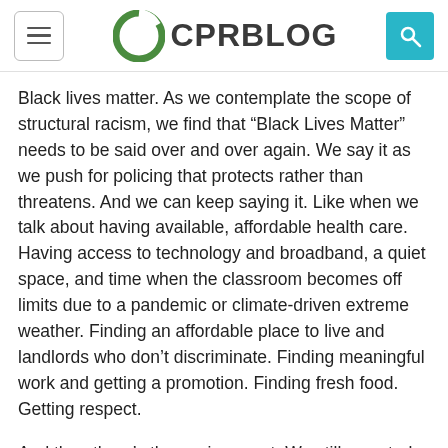CPR BLOG
Black lives matter. As we contemplate the scope of structural racism, we find that “Black Lives Matter” needs to be said over and over again. We say it as we push for policing that protects rather than threatens. And we can keep saying it. Like when we talk about having available, affordable health care. Having access to technology and broadband, a quiet space, and time when the classroom becomes off limits due to a pandemic or climate-driven extreme weather. Finding an affordable place to live and landlords who don’t discriminate. Finding meaningful work and getting a promotion. Finding fresh food. Getting respect.
And then there’s the environment. We still see stark disparities in exposures to environmental harms in our country. For example, communities of color are more likely to live in areas with high levels of air pollution,